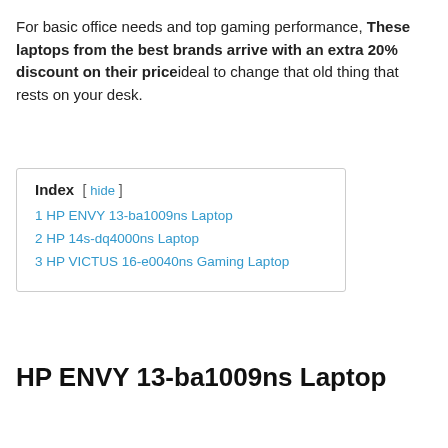For basic office needs and top gaming performance, These laptops from the best brands arrive with an extra 20% discount on their priceideal to change that old thing that rests on your desk.
| 1 HP ENVY 13-ba1009ns Laptop |
| 2 HP 14s-dq4000ns Laptop |
| 3 HP VICTUS 16-e0040ns Gaming Laptop |
HP ENVY 13-ba1009ns Laptop